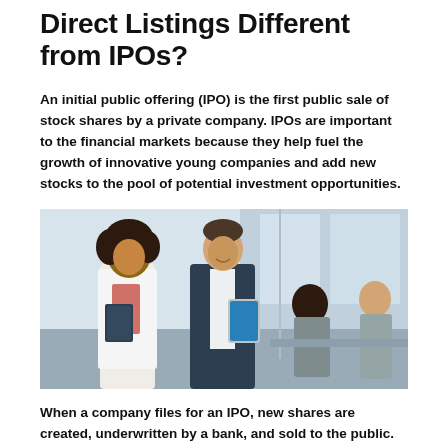Direct Listings Different from IPOs?
An initial public offering (IPO) is the first public sale of stock shares by a private company. IPOs are important to the financial markets because they help fuel the growth of innovative young companies and add new stocks to the pool of potential investment opportunities.
[Figure (photo): Two business professionals standing in an office environment — a woman with curly hair holding a notebook and a man in a dark suit holding a tablet — with other colleagues visible in the background.]
When a company files for an IPO, new shares are created, underwritten by a bank, and sold to the public. But that's not the only way for a company's stock to become publicly traded. When a company